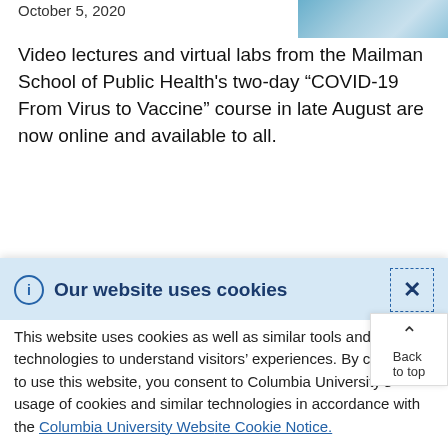October 5, 2020
[Figure (photo): Blue-tinted image in the top right corner]
Video lectures and virtual labs from the Mailman School of Public Health's two-day “COVID-19 From Virus to Vaccine” course in late August are now online and available to all.
[Figure (other): Pagination buttons: previous (<<), back (<), page number (10), next (>), last (>>)]
Our website uses cookies
This website uses cookies as well as similar tools and technologies to understand visitors’ experiences. By continuing to use this website, you consent to Columbia University’s usage of cookies and similar technologies in accordance with the Columbia University Website Cookie Notice.